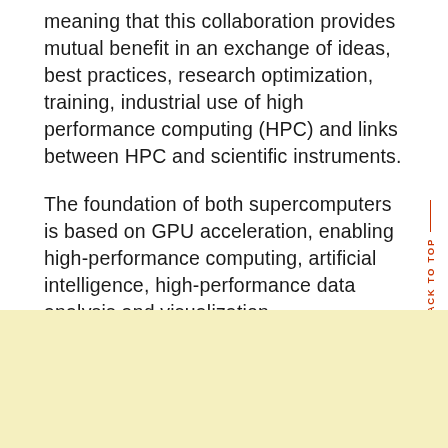meaning that this collaboration provides mutual benefit in an exchange of ideas, best practices, research optimization, training, industrial use of high performance computing (HPC) and links between HPC and scientific instruments.
The foundation of both supercomputers is based on GPU acceleration, enabling high-performance computing, artificial intelligence, high-performance data analysis and visualization.